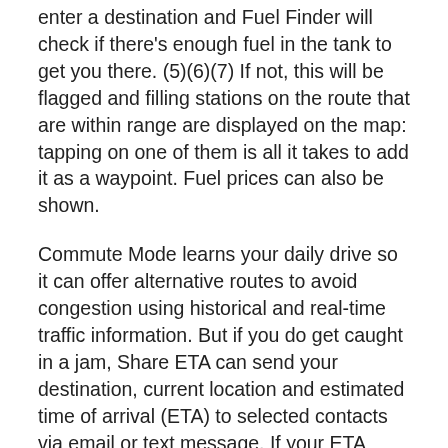enter a destination and Fuel Finder will check if there's enough fuel in the tank to get you there. (5)(6)(7) If not, this will be flagged and filling stations on the route that are within range are displayed on the map: tapping on one of them is all it takes to add it as a waypoint. Fuel prices can also be shown.
Commute Mode learns your daily drive so it can offer alternative routes to avoid congestion using historical and real-time traffic information. But if you do get caught in a jam, Share ETA can send your destination, current location and estimated time of arrival (ETA) to selected contacts via email or text message. If your ETA slips, the system can automatically follow-up with an update (5)(6)(7).
The smart navigation features of Touch Pro can also